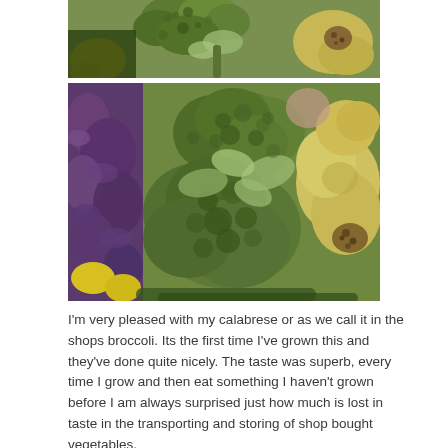[Figure (photo): Top photo: close-up of broccoli/calabrese and other vegetables including yellow squash, green leaves, and a pattypan squash with speckled brown spot.]
[Figure (photo): Larger photo: broccoli/calabrese heads surrounded by purple kale on the left, yellow squash/pattypan on the right, with green leaves and other colorful vegetables.]
I'm very pleased with my calabrese or as we call it in the shops broccoli. Its the first time I've grown this and they've done quite nicely. The taste was superb, every time I grow and then eat something I haven't grown before I am always surprised just how much is lost in taste in the transporting and storing of shop bought vegetables.